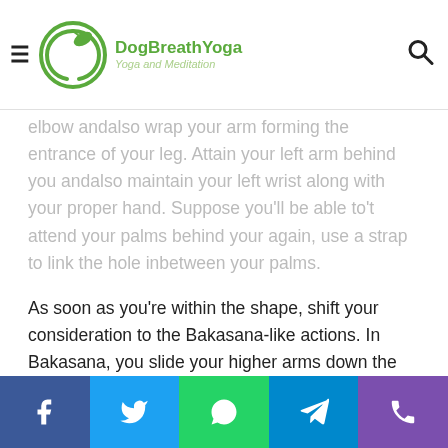DogBreathYoga — Yoga and Meditation
elbow andalso wrap your arm forming the entrance of your leg. Attain your left arm behind you andalso maintain your left wrist along with your proper hand. Suppose you'll be able to't attend your palms behind your again, use a strap to link the hole inbetween your palms.

As soon as you're within the shape, shift your consideration to the Bakasana-like actions. In Bakasana, you slide your higher arms down the entrance of your shins, {squeeze} your inside legs firmly into your outer arms, andalso unfold your higher again andalso shoulder blades. To test, function your proper arm a little bit decrease andalso press it firmly in opposition to the entrance of your leg. On
Social share bar: Facebook, Twitter, WhatsApp, Telegram, Phone